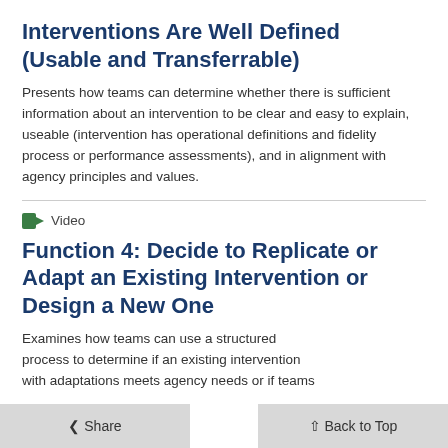Interventions Are Well Defined (Usable and Transferrable)
Presents how teams can determine whether there is sufficient information about an intervention to be clear and easy to explain, useable (intervention has operational definitions and fidelity process or performance assessments), and in alignment with agency principles and values.
Video
Function 4: Decide to Replicate or Adapt an Existing Intervention or Design a New One
Examines how teams can use a structured process to determine if an existing intervention with adaptations meets agency needs or if teams